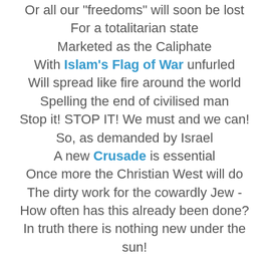Or all our "freedoms" will soon be lost
For a totalitarian state
Marketed as the Caliphate
With Islam's Flag of War unfurled
Will spread like fire around the world
Spelling the end of civilised man
Stop it! STOP IT! We must and we can!
So, as demanded by Israel
A new Crusade is essential
Once more the Christian West will do
The dirty work for the cowardly Jew -
How often has this already been done?
In truth there is nothing new under the sun!